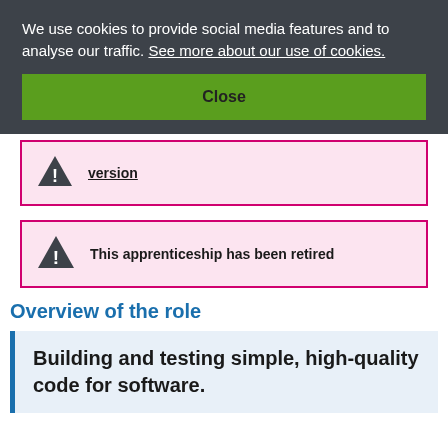We use cookies to provide social media features and to analyse our traffic. See more about our use of cookies.
Close
version
This apprenticeship has been retired
Overview of the role
Building and testing simple, high-quality code for software.